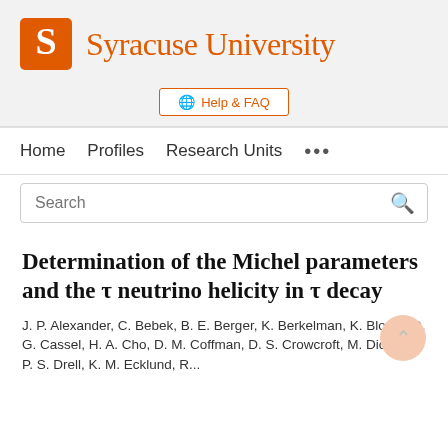[Figure (logo): Syracuse University logo with orange S block letter and orange wordmark text]
Help & FAQ
Home   Profiles   Research Units   ...
Search
Determination of the Michel parameters and the τ neutrino helicity in τ decay
J. P. Alexander, C. Bebek, B. E. Berger, K. Berkelman, K. Bloom, D. G. Cassel, H. A. Cho, D. M. Coffman, D. S. Crowcroft, M. Dickson, P. S. Drell, K. M. Ecklund, R...